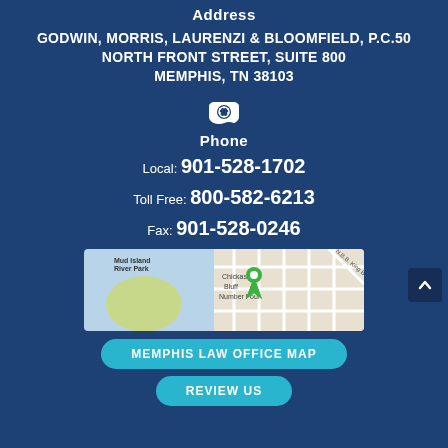Address
GODWIN, MORRIS, LAURENZI & BLOOMFIELD, P.C.50 NORTH FRONT STREET, SUITE 800 MEMPHIS, TN 38103
[Figure (illustration): Telephone icon]
Phone
Local: 901-528-1702
Toll Free: 800-582-6213
Fax: 901-528-0246
[Figure (map): Map showing location near Mud Island River Park and Chickasaw Bluff Number Four in Memphis, TN with a green pin marker]
MEMPHIS LAW OFFICE MAP
REVIEW US